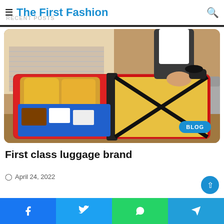The First Fashion
[Figure (photo): Person packing a red suitcase with yellow clothing and blue items including passport and cards on a wooden floor]
First class luggage brand
April 24, 2022
Facebook Twitter WhatsApp Telegram social share buttons